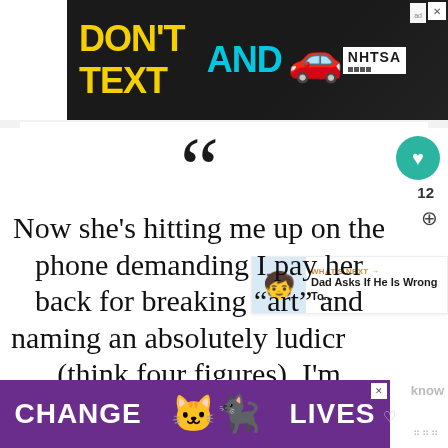[Figure (other): Advertisement banner: 'DON'T TEXT AND DRIVE' with car emoji and NHTSA logo on dark background]
““
Now she’s hitting me up on the phone demanding I pay her back for breaking “art” and naming an absolutely ludicrous (think four figures). I’m absolutely not going
[Figure (other): Advertisement banner: 'CHANGE [cat emoji] LIVES' on purple background]